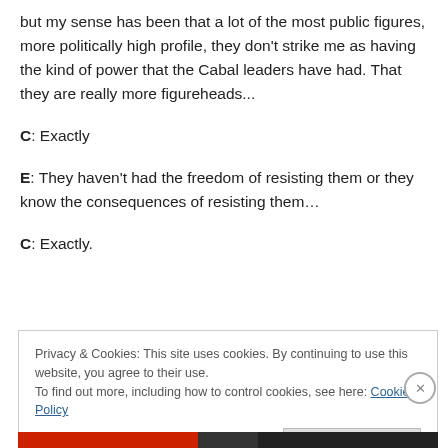but my sense has been that a lot of the most public figures, more politically high profile, they don't strike me as having the kind of power that the Cabal leaders have had. That they are really more figureheads...
C: Exactly
E: They haven't had the freedom of resisting them or they know the consequences of resisting them…
C: Exactly.
Privacy & Cookies: This site uses cookies. By continuing to use this website, you agree to their use.
To find out more, including how to control cookies, see here: Cookie Policy